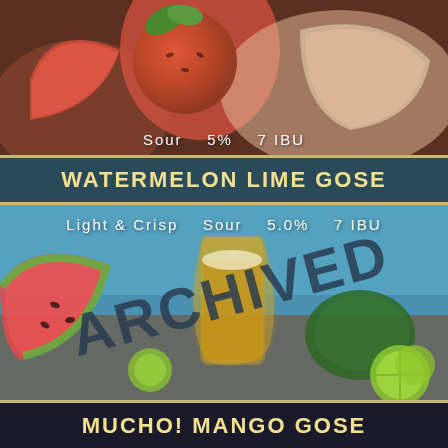[Figure (photo): Top portion of a beer or cocktail with watermelon and citrus garnishes, colorful fruit slices visible]
Sour   5%   7 IBU
WATERMELON LIME GOSE
[Figure (photo): Photo of a beer glass (Dangerous Man Brewing) surrounded by watermelon slices, limes, and a mini watermelon, with ARCHIVED stamp overlay]
Light & Crisp   Sour   5.0%   7 IBU
MUCHO! MANGO GOSE